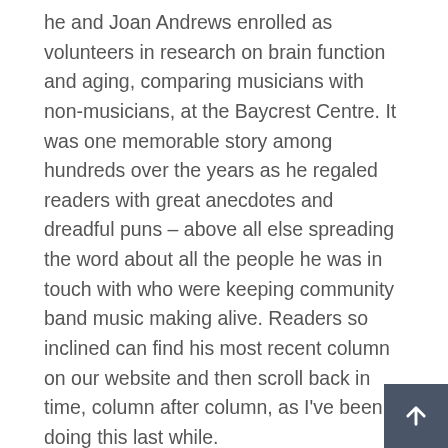he and Joan Andrews enrolled as volunteers in research on brain function and aging, comparing musicians with non-musicians, at the Baycrest Centre. It was one memorable story among hundreds over the years as he regaled readers with great anecdotes and dreadful puns – above all else spreading the word about all the people he was in touch with who were keeping community band music making alive. Readers so inclined can find his most recent column on our website and then scroll back in time, column after column, as I've been doing this last while.
Curious as to what might have changed or not over the course of this pandemic year, I went to look at the February 2020 column (wondering for a moment if just reprinting it would serve here to give readers a taste of the man). It didn't disappoint: from Groundhog Day to